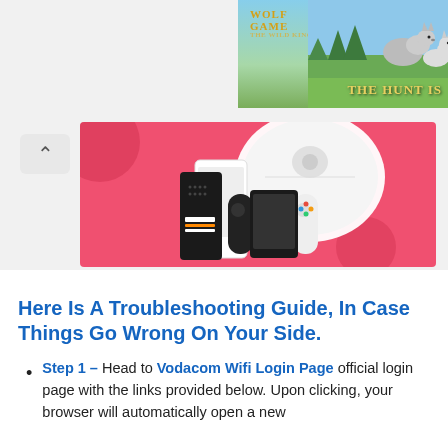[Figure (photo): Wolf Game: The Wild Kingdom advertisement banner with wolves on a grassy field and text 'THE HUNT IS']
[Figure (photo): Pink advertisement banner showing electronic gadgets including a Nintendo Switch OLED, a robot vacuum cleaner, and a gaming device]
Here Is A Troubleshooting Guide, In Case Things Go Wrong On Your Side.
Step 1 – Head to Vodacom Wifi Login Page official login page with the links provided below. Upon clicking, your browser will automatically open a new